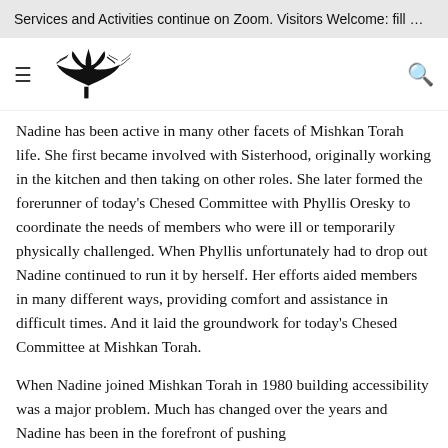Services and Activities continue on Zoom. Visitors Welcome: fill …
[Figure (logo): Mishkan Torah logo: stylized tree with Hebrew-style text decoration, black ink illustration]
Nadine has been active in many other facets of Mishkan Torah life. She first became involved with Sisterhood, originally working in the kitchen and then taking on other roles. She later formed the forerunner of today's Chesed Committee with Phyllis Oresky to coordinate the needs of members who were ill or temporarily physically challenged. When Phyllis unfortunately had to drop out Nadine continued to run it by herself. Her efforts aided members in many different ways, providing comfort and assistance in difficult times. And it laid the groundwork for today's Chesed Committee at Mishkan Torah.
When Nadine joined Mishkan Torah in 1980 building accessibility was a major problem. Much has changed over the years and Nadine has been in the forefront of pushing